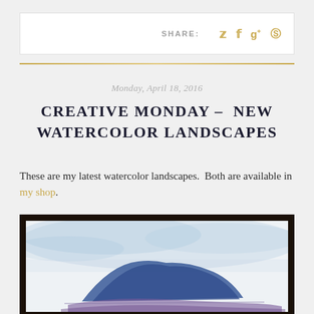SHARE: [twitter] [facebook] [google+] [pinterest]
Monday, April 18, 2016
CREATIVE MONDAY – NEW WATERCOLOR LANDSCAPES
These are my latest watercolor landscapes.  Both are available in my shop.
[Figure (photo): A framed watercolor landscape painting showing a blue mountain or island shape against a pale sky, viewed in a dark frame with white mat.]